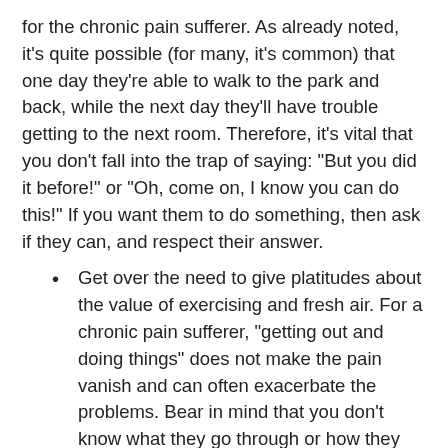for the chronic pain sufferer. As already noted, it's quite possible (for many, it's common) that one day they're able to walk to the park and back, while the next day they'll have trouble getting to the next room. Therefore, it's vital that you don't fall into the trap of saying: "But you did it before!" or "Oh, come on, I know you can do this!" If you want them to do something, then ask if they can, and respect their answer.
Get over the need to give platitudes about the value of exercising and fresh air. For a chronic pain sufferer, "getting out and doing things" does not make the pain vanish and can often exacerbate the problems. Bear in mind that you don't know what they go through or how they suffer in their own private time. Telling them that they need to exercise, or do some things to "get their mind off of it", may frustrate them to tears, and is not correct advice, especially if you're not medically trained and